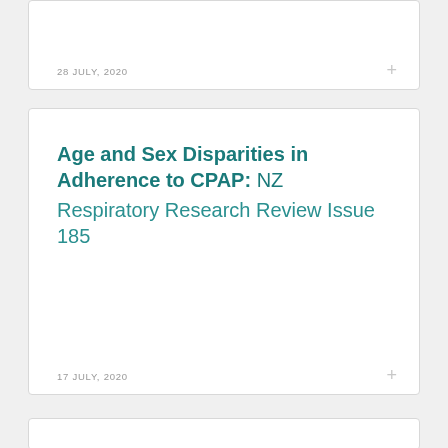28 JULY, 2020
Age and Sex Disparities in Adherence to CPAP: NZ Respiratory Research Review Issue 185
17 JULY, 2020